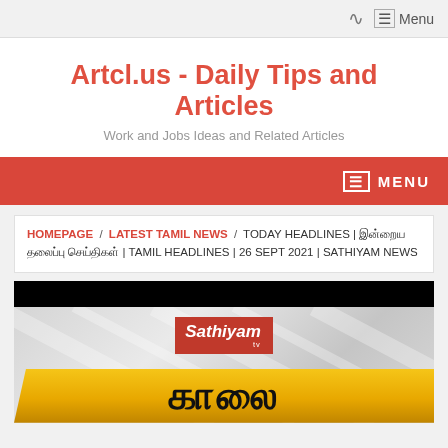Menu
Artcl.us - Daily Tips and Articles
Work and Jobs Ideas and Related Articles
MENU
HOMEPAGE / LATEST TAMIL NEWS / TODAY HEADLINES | இன்றைய தலைப்பு செய்திகள் | TAMIL HEADLINES | 26 SEPT 2021 | SATHIYAM NEWS
[Figure (screenshot): Sathiyam TV news video thumbnail showing the Sathiyam TV logo on a red background and Tamil text 'காலை' (morning) on a gold banner over a grey gradient background.]